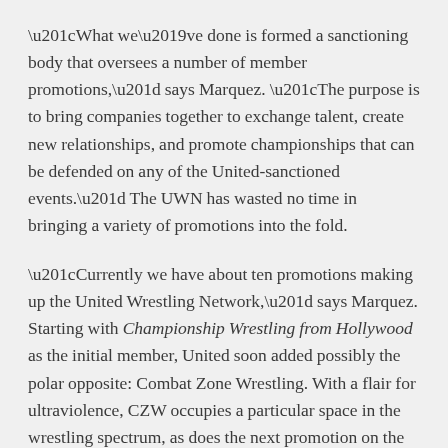“What we’ve done is formed a sanctioning body that oversees a number of member promotions,” says Marquez. “The purpose is to bring companies together to exchange talent, create new relationships, and promote championships that can be defended on any of the United-sanctioned events.” The UWN has wasted no time in bringing a variety of promotions into the fold.
“Currently we have about ten promotions making up the United Wrestling Network,” says Marquez. Starting with Championship Wrestling from Hollywood as the initial member, United soon added possibly the polar opposite: Combat Zone Wrestling. With a flair for ultraviolence, CZW occupies a particular space in the wrestling spectrum, as does the next promotion on the list: the party-like Freelance Wrestling. Each of these companies offers a distinct atmosphere for the United Wrestling Network champions to defend their titles.